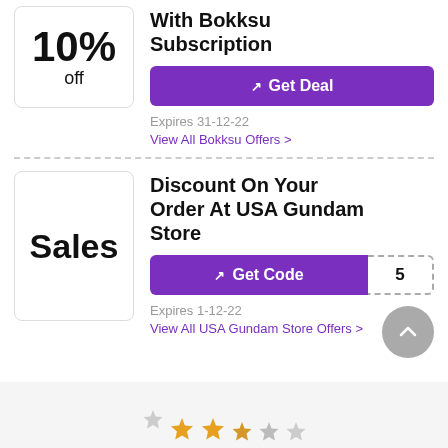10% Off Your 1st Order With Bokksu Subscription
Get Deal
Expires 31-12-22
View All Bokksu Offers >
Discount On Your Order At USA Gundam Store
Get Code 5
Expires 1-12-22
View All USA Gundam Store Offers >